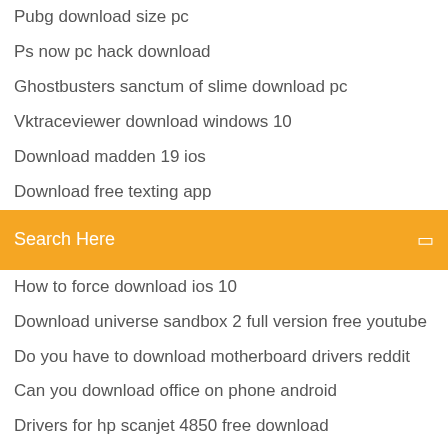Pubg download size pc
Ps now pc hack download
Ghostbusters sanctum of slime download pc
Vktraceviewer download windows 10
Download madden 19 ios
Download free texting app
Search Here
How to force download ios 10
Download universe sandbox 2 full version free youtube
Do you have to download motherboard drivers reddit
Can you download office on phone android
Drivers for hp scanjet 4850 free download
How to stop system download on my android
Metasequoia free download full version
Print to pdf download javascript
Dynasty warriors gundam pc download
Dob picture converter download